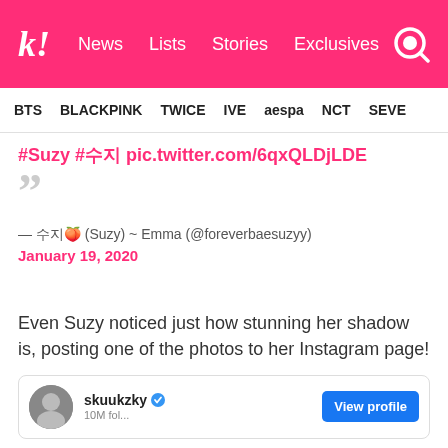k! News Lists Stories Exclusives
BTS BLACKPINK TWICE IVE aespa NCT SEVE
#Suzy #수지 pic.twitter.com/6qxQLDjLDE
— 수지🍑 (Suzy) ~ Emma (@foreverbaesuzyy) January 19, 2020
Even Suzy noticed just how stunning her shadow is, posting one of the photos to her Instagram page!
[Figure (screenshot): Instagram profile card for skuukzky with View profile button]